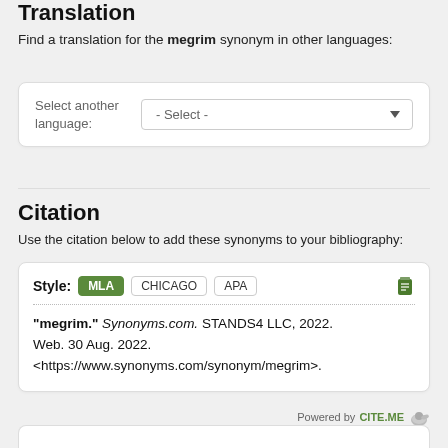Translation
Find a translation for the megrim synonym in other languages:
Select another language: - Select -
Citation
Use the citation below to add these synonyms to your bibliography:
Style: MLA CHICAGO APA
"megrim." Synonyms.com. STANDS4 LLC, 2022. Web. 30 Aug. 2022. <https://www.synonyms.com/synonym/megrim>.
Powered by CITE.ME